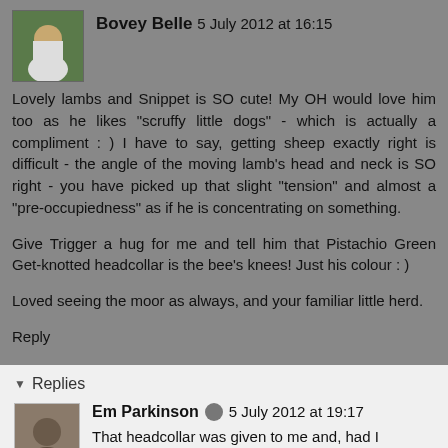Bovey Belle 5 July 2012 at 16:15
Lovely lambs and Snippet is SO cute! My OH would love him too as he likes "scruffy little dogs" - which is actually a compliment : ) I have to say, getting sheep exactly right is difficult - the angle of the moving lamb's head and neck is SO right - you have picked up that slight "tension" and almost a "pre-occupiedness" as if he is concentrating on something.
Give Trigger a hug for me and tell him that Pistachio Green Get-knotted headcollar is the bee's knees! Just his colour : )
Loved seeing the moor as always, and your familiar little herd.
Reply
Replies
Em Parkinson 5 July 2012 at 19:17
That headcollar was given to me and, had I